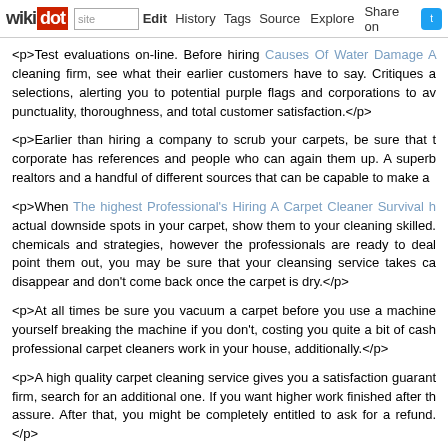wikidot | site | Edit | History | Tags | Source | Explore | Share on [Twitter]
<p>Test evaluations on-line. Before hiring Causes Of Water Damage A cleaning firm, see what their earlier customers have to say. Critiques a selections, alerting you to potential purple flags and corporations to av punctuality, thoroughness, and total customer satisfaction.</p>
<p>Earlier than hiring a company to scrub your carpets, be sure that t corporate has references and people who can again them up. A superb realtors and a handful of different sources that can be capable to make a</p>
<p>When The highest Professional's Hiring A Carpet Cleaner Survival h actual downside spots in your carpet, show them to your cleaning skilled. chemicals and strategies, however the professionals are ready to deal point them out, you may be sure that your cleansing service takes ca disappear and don't come back once the carpet is dry.</p>
<p>At all times be sure you vacuum a carpet before you use a machine yourself breaking the machine if you don't, costing you quite a bit of cash professional carpet cleaners work in your house, additionally.</p>
<p>A high quality carpet cleaning service gives you a satisfaction guarant firm, search for an additional one. If you want higher work finished after th assure. After that, you might be completely entitled to ask for a refund.</p>
<p>Renting a steam cleaner is a great way to keep your carpet clear. Mo be borrowed or rented. Plan on renting a steam cleaner two or three tim rent one if you are having a tough time getting rid of a stain.</p>